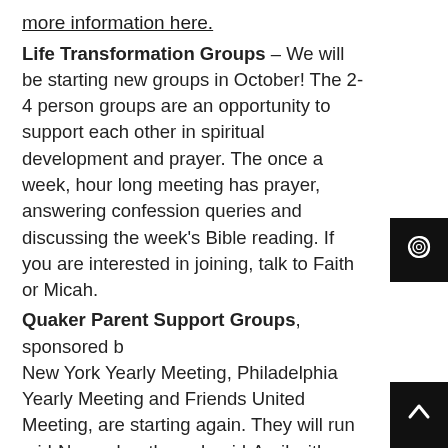more information here.
Life Transformation Groups – We will be starting new groups in October! The 2-4 person groups are an opportunity to support each other in spiritual development and prayer. The once a week, hour long meeting has prayer, answering confession queries and discussing the week's Bible reading. If you are interested in joining, talk to Faith or Micah.
Quaker Parent Support Groups, sponsored by New York Yearly Meeting, Philadelphia Yearly Meeting and Friends United Meeting, are starting again. They will run mid-November through mid-April with parents across the country meeting over Zoom to talk about what it is like to parent kids in our faith. To participate, you must register by October 31 here.
Share this: